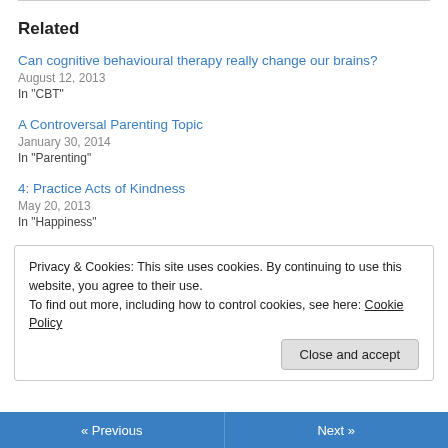Related
Can cognitive behavioural therapy really change our brains?
August 12, 2013
In "CBT"
A Controversal Parenting Topic
January 30, 2014
In "Parenting"
4: Practice Acts of Kindness
May 20, 2013
In "Happiness"
Privacy & Cookies: This site uses cookies. By continuing to use this website, you agree to their use. To find out more, including how to control cookies, see here: Cookie Policy
Close and accept
« Previous   Next »